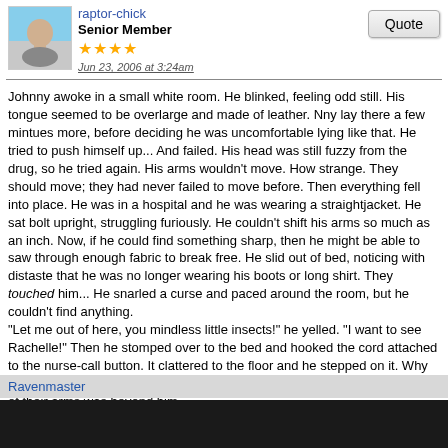raptor-chick
Senior Member
Jun 23, 2006 at 3:24am
Johnny awoke in a small white room. He blinked, feeling odd still. His tongue seemed to be overlarge and made of leather. Nny lay there a few mintues more, before deciding he was uncomfortable lying like that. He tried to push himself up... And failed. His head was still fuzzy from the drug, so he tried again. His arms wouldn't move. How strange. They should move; they had never failed to move before. Then everything fell into place. He was in a hospital and he was wearing a straightjacket. He sat bolt upright, struggling furiously. He couldn't shift his arms so much as an inch. Now, if he could find something sharp, then he might be able to saw through enough fabric to break free. He slid out of bed, noticing with distaste that he was no longer wearing his boots or long shirt. They touched him... He snarled a curse and paced around the room, but he couldn't find anything.
"Let me out of here, you mindless little insects!" he yelled. "I want to see Rachelle!" Then he stomped over to the bed and hooked the cord attached to the nurse-call button. It clattered to the floor and he stepped on it. Why they would put one of these things here when the patients here had no use of their arms was beyond him.
Ravenmaster